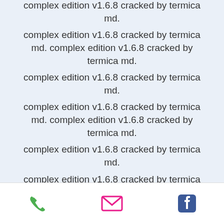complex edition v1.6.8 cracked by termica md.
complex edition v1.6.8 cracked by termica md. complex edition v1.6.8 cracked by termica md.
complex edition v1.6.8 cracked by termica md.
complex edition v1.6.8 cracked by termica md. complex edition v1.6.8 cracked by termica md.
complex edition v1.6.8 cracked by termica md.
complex edition v1.6.8 cracked by termica md. complex edition v1.6.8 cracked by termica md.
complex edition v1.6.8 cracked by termica md.
complex edition v1.6.8 cracked by termica md. complex edition v1.6.8 cracked by termica md.
phone | email | facebook